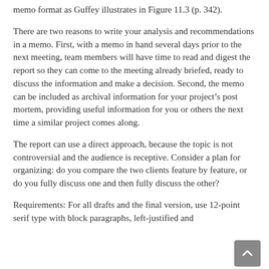memo format as Guffey illustrates in Figure 11.3 (p. 342).
There are two reasons to write your analysis and recommendations in a memo. First, with a memo in hand several days prior to the next meeting, team members will have time to read and digest the report so they can come to the meeting already briefed, ready to discuss the information and make a decision. Second, the memo can be included as archival information for your project's post mortem, providing useful information for you or others the next time a similar project comes along.
The report can use a direct approach, because the topic is not controversial and the audience is receptive. Consider a plan for organizing: do you compare the two clients feature by feature, or do you fully discuss one and then fully discuss the other?
Requirements: For all drafts and the final version, use 12-point serif type with block paragraphs, left-justified and